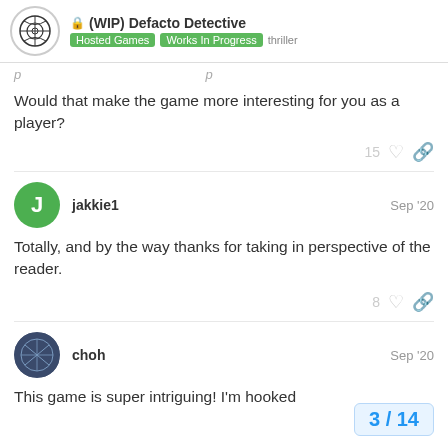(WIP) Defacto Detective | Hosted Games | Works In Progress | thriller
Would that make the game more interesting for you as a player?
jakkie1 Sep '20
Totally, and by the way thanks for taking in perspective of the reader.
choh Sep '20
This game is super intriguing! I'm hooked